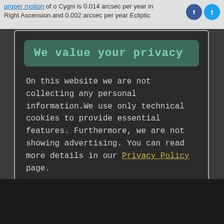proper motion of o Cygni is 0.014 arcsec per year in Right Ascension and 0.002 arcsec per year Ecliptic
We value your privacy
On this website we are not collecting any personal information.We use only technical cookies to provide essential features. Furthermore, we are not showing advertising. You can read more details in our Privacy Policy page.
If you proceed we'll assume you agree to receive our cookies. Thank you.
Proceed to TheSkyLive.com